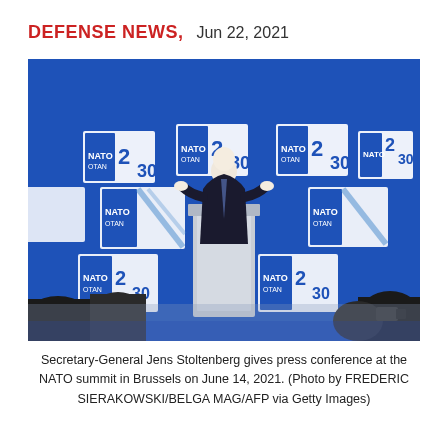DEFENSE NEWS,  Jun 22, 2021
[Figure (photo): Secretary-General Jens Stoltenberg stands at a podium giving a press conference at the NATO summit in Brussels, surrounded by NATO 2030 branded backdrops. Audience silhouettes are visible in the foreground.]
Secretary-General Jens Stoltenberg gives press conference at the NATO summit in Brussels on June 14, 2021. (Photo by FREDERIC SIERAKOWSKI/BELGA MAG/AFP via Getty Images)